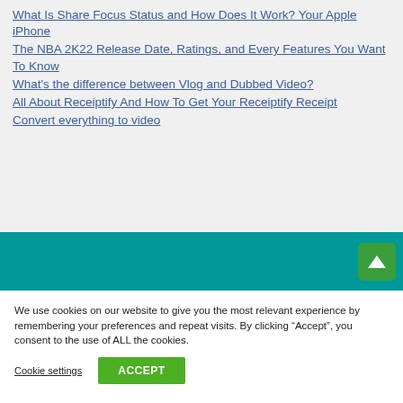What Is Share Focus Status and How Does It Work? Your Apple iPhone
The NBA 2K22 Release Date, Ratings, and Every Features You Want To Know
What's the difference between Vlog and Dubbed Video?
All About Receiptify And How To Get Your Receiptify Receipt
Convert everything to video
We use cookies on our website to give you the most relevant experience by remembering your preferences and repeat visits. By clicking “Accept”, you consent to the use of ALL the cookies.
Cookie settings  ACCEPT